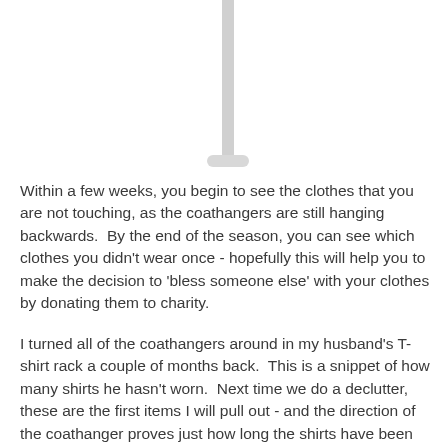[Figure (photo): A vertical coat hanger rod/rail with hangers visible, showing a clothing rack with a thin vertical pole against a white background.]
Within a few weeks, you begin to see the clothes that you are not touching, as the coathangers are still hanging backwards.  By the end of the season, you can see which clothes you didn't wear once - hopefully this will help you to make the decision to 'bless someone else' with your clothes by donating them to charity.
I turned all of the coathangers around in my husband's T-shirt rack a couple of months back.  This is a snippet of how many shirts he hasn't worn.  Next time we do a declutter, these are the first items I will pull out - and the direction of the coathanger proves just how long the shirts have been